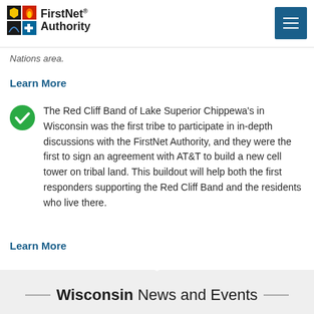FirstNet Authority
...Nations area.
Learn More
The Red Cliff Band of Lake Superior Chippewa's in Wisconsin was the first tribe to participate in in-depth discussions with the FirstNet Authority, and they were the first to sign an agreement with AT&T to build a new cell tower on tribal land. This buildout will help both the first responders supporting the Red Cliff Band and the residents who live there.
Learn More
Wisconsin News and Events